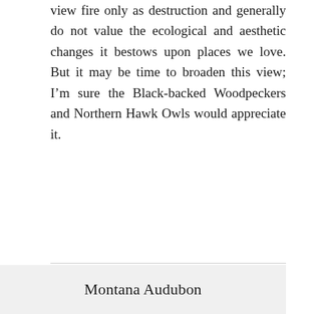view fire only as destruction and generally do not value the ecological and aesthetic changes it bestows upon places we love. But it may be time to broaden this view; I'm sure the Black-backed Woodpeckers and Northern Hawk Owls would appreciate it.
Montana Audubon